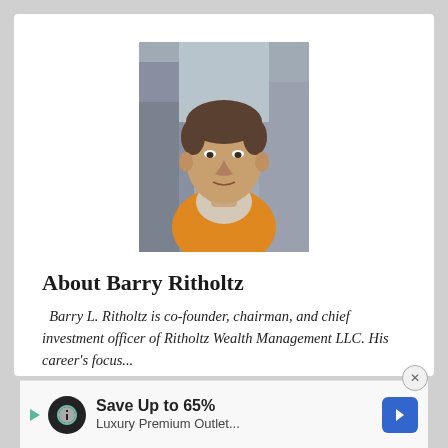[Figure (photo): Headshot photo of Barry Ritholtz, a middle-aged man in an orange jacket, looking upward, with urban background.]
About Barry Ritholtz
Barry L. Ritholtz is co-founder, chairman, and chief investment officer of Ritholtz Wealth Management LLC. His career's focus...
Read More →
Save Up to 65%